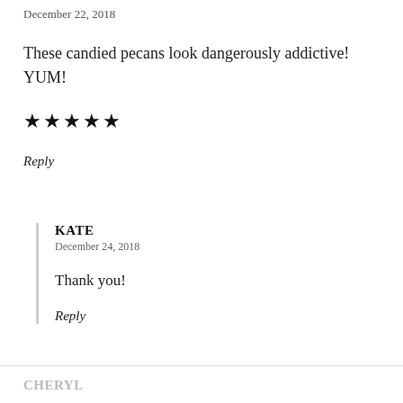December 22, 2018
These candied pecans look dangerously addictive! YUM!
★★★★★
Reply
KATE
December 24, 2018
Thank you!
Reply
CHERYL